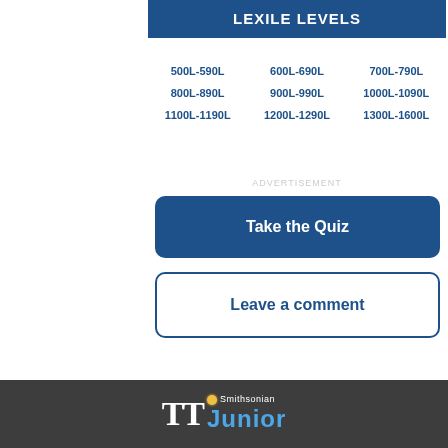LEXILE LEVELS
500L-590L
600L-690L
700L-790L
800L-890L
900L-990L
1000L-1090L
1100L-1190L
1200L-1290L
1300L-1600L
ADVERTISEMENT
Take the Quiz
Leave a comment
TT Junior Smithsonian